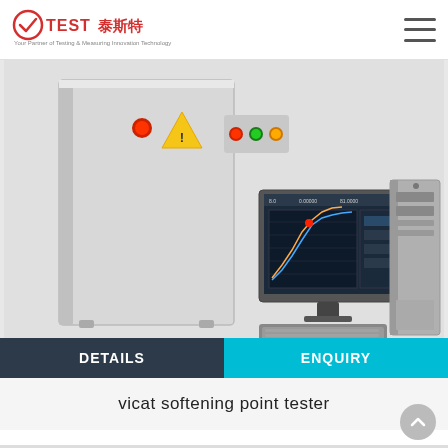TEST 泰斯特 — Your Partner of Testing & Measuring Innovation Technology
[Figure (photo): Vicat softening point tester machine: a large grey cabinet with red indicator light, yellow warning sticker, and red/green/yellow control buttons on front panel, alongside a desktop computer monitor showing test data curves, a keyboard, and a computer tower unit.]
DETAILS
ENQUIRY
vicat softening point tester